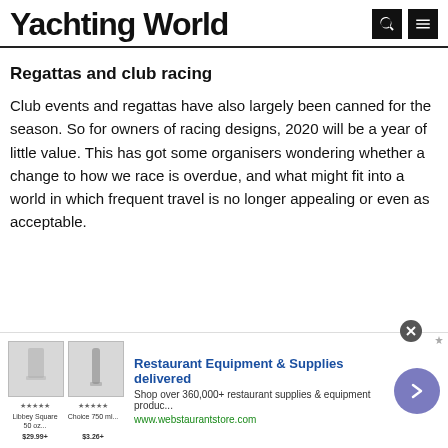Yachting World
Regattas and club racing
Club events and regattas have also largely been canned for the season. So for owners of racing designs, 2020 will be a year of little value. This has got some organisers wondering whether a change to how we race is overdue, and what might fit into a world in which frequent travel is no longer appealing or even as acceptable.
[Figure (other): Advertisement banner: Restaurant Equipment & Supplies delivered. Shop over 360,000+ restaurant supplies & equipment produc... www.webstaurantstore.com]